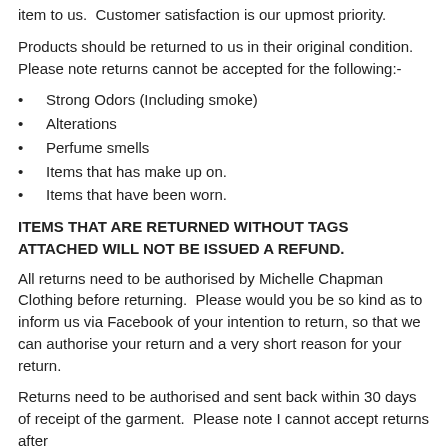item to us.  Customer satisfaction is our upmost priority.
Products should be returned to us in their original condition. Please note returns cannot be accepted for the following:-
Strong Odors (Including smoke)
Alterations
Perfume smells
Items that has make up on.
Items that have been worn.
ITEMS THAT ARE RETURNED WITHOUT TAGS ATTACHED WILL NOT BE ISSUED A REFUND.
All returns need to be authorised by Michelle Chapman Clothing before returning.  Please would you be so kind as to inform us via Facebook of your intention to return, so that we can authorise your return and a very short reason for your return.
Returns need to be authorised and sent back within 30 days of receipt of the garment.  Please note I cannot accept returns after